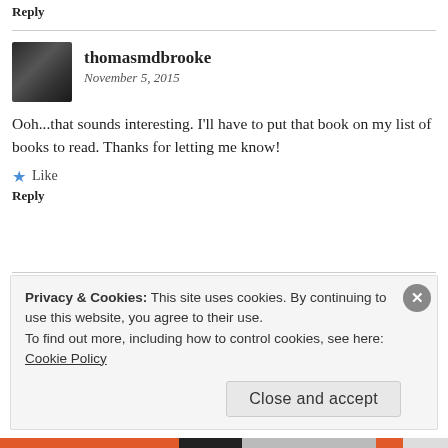Reply
thomasmdbrooke
November 5, 2015
Ooh...that sounds interesting. I'll have to put that book on my list of books to read. Thanks for letting me know!
Like
Reply
Alan R Lancaster
Privacy & Cookies: This site uses cookies. By continuing to use this website, you agree to their use.
To find out more, including how to control cookies, see here:
Cookie Policy
Close and accept